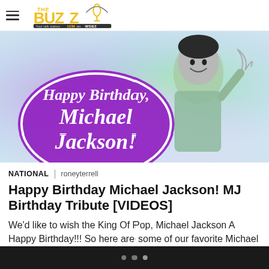THE BUZZ WDBZ — Your talk station 1230am
[Figure (photo): Happy Birthday Michael Jackson banner with colorful pastel background (purple, green, blue hues) showing a young smiling Michael Jackson holding something, with a purple sticker-style badge reading 'Happy Birthday, Michael Jackson!']
NATIONAL | roneyterrell
Happy Birthday Michael Jackson! MJ Birthday Tribute [VIDEOS]
We'd like to wish the King Of Pop, Michael Jackson A Happy Birthday!!! So here are some of our favorite Michael Jack...